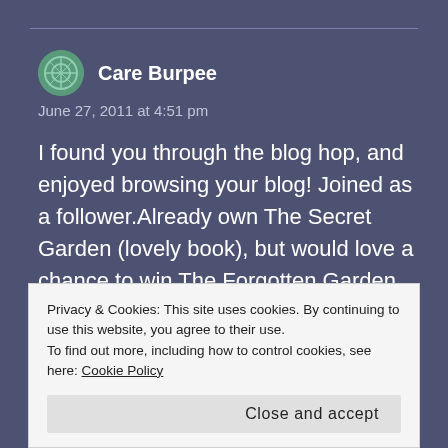Care Burpee
June 27, 2011 at 4:51 pm
I found you through the blog hop, and enjoyed browsing your blog! Joined as a follower.Already own The Secret Garden (lovely book), but would love a chance to win The Forgotten Garden, as I have never read one of hers and really need to!Thanks! Care Burpeecareofkiddos@msn.com
Privacy & Cookies: This site uses cookies. By continuing to use this website, you agree to their use.
To find out more, including how to control cookies, see here: Cookie Policy
Close and accept